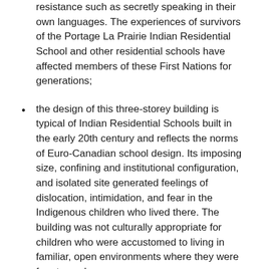resistance such as secretly speaking in their own languages. The experiences of survivors of the Portage La Prairie Indian Residential School and other residential schools have affected members of these First Nations for generations;
the design of this three-storey building is typical of Indian Residential Schools built in the early 20th century and reflects the norms of Euro-Canadian school design. Its imposing size, confining and institutional configuration, and isolated site generated feelings of dislocation, intimidation, and fear in the Indigenous children who lived there. The building was not culturally appropriate for children who were accustomed to living in familiar, open environments where they were free to explore.
The school closed in 1975 and six years later, the building and its surrounding lands were transferred to Long Plain First Nation to fulfill part of their treaty land entitlement. Since that time, the school has been readapted by the